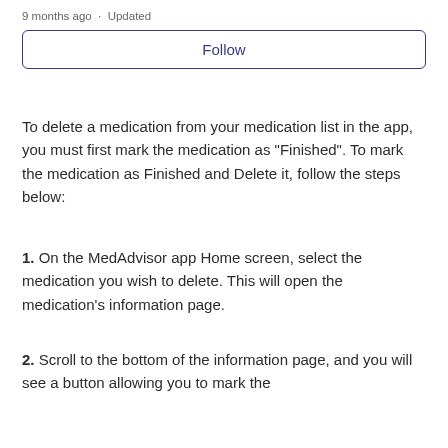9 months ago · Updated
Follow
To delete a medication from your medication list in the app, you must first mark the medication as "Finished". To mark the medication as Finished and Delete it, follow the steps below:
1. On the MedAdvisor app Home screen, select the medication you wish to delete. This will open the medication's information page.
2. Scroll to the bottom of the information page, and you will see a button allowing you to mark the